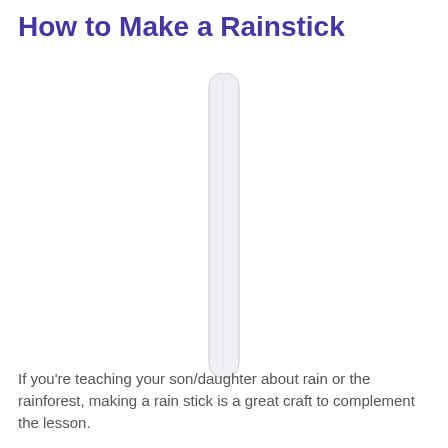How to Make a Rainstick
[Figure (illustration): A tall, narrow rainstick (musical instrument) shown vertically, white/light gray in color, depicted against a white background.]
If you're teaching your son/daughter about rain or the rainforest, making a rain stick is a great craft to complement the lesson.